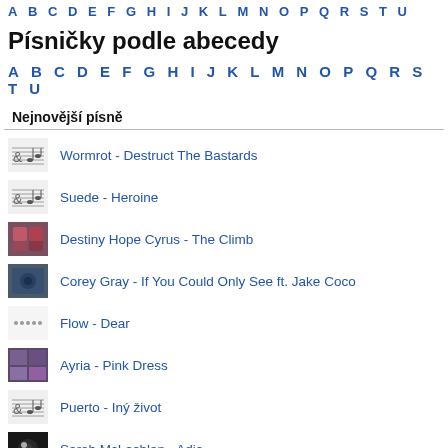A B C D E F G H I J K L M N O P Q R S T U
Písničky podle abecedy
A B C D E F G H I J K L M N O P Q R S T U
Nejnovější písně
Wormrot - Destruct The Bastards
Suede - Heroine
Destiny Hope Cyrus - The Climb
Corey Gray - If You Could Only See ft. Jake Coco
Flow - Dear
Ayria - Pink Dress
Puerto - Iný život
Sarah McLachlan - Adia
X-ray - Vzpamatuj se